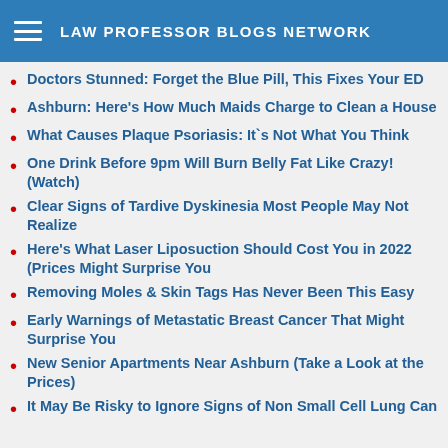LAW PROFESSOR BLOGS NETWORK
Doctors Stunned: Forget the Blue Pill, This Fixes Your ED
Ashburn: Here's How Much Maids Charge to Clean a House
What Causes Plaque Psoriasis: It`s Not What You Think
One Drink Before 9pm Will Burn Belly Fat Like Crazy! (Watch)
Clear Signs of Tardive Dyskinesia Most People May Not Realize
Here's What Laser Liposuction Should Cost You in 2022 (Prices Might Surprise You
Removing Moles & Skin Tags Has Never Been This Easy
Early Warnings of Metastatic Breast Cancer That Might Surprise You
New Senior Apartments Near Ashburn (Take a Look at the Prices)
It May Be Risky to Ignore Signs of Non Small Cell Lung Cancer